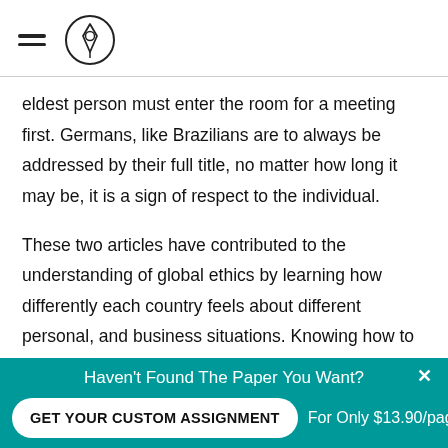eldest person must enter the room for a meeting first. Germans, like Brazilians are to always be addressed by their full title, no matter how long it may be, it is a sign of respect to the individual.
These two articles have contributed to the understanding of global ethics by learning how differently each country feels about different personal, and business situations. Knowing how to approach someone from a different country about merging businesses is crucial in making
Haven't Found The Paper You Want?
GET YOUR CUSTOM ASSIGNMENT
For Only $13.90/page